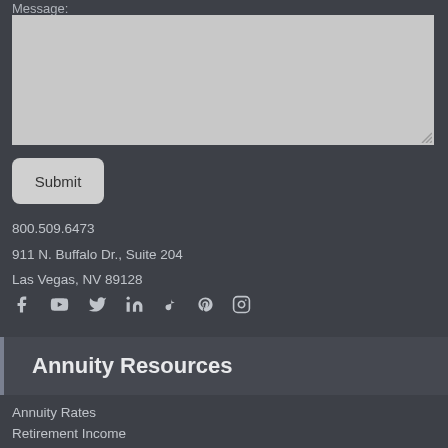Message:
[Figure (screenshot): A large textarea input field with gray background and resize handle]
Submit
800.509.6473
911 N. Buffalo Dr., Suite 204
Las Vegas, NV 89128
[Figure (infographic): Social media icons: Facebook, YouTube, Twitter, LinkedIn, TikTok, Pinterest, Instagram]
Annuity Resources
Annuity Rates
Retirement Income